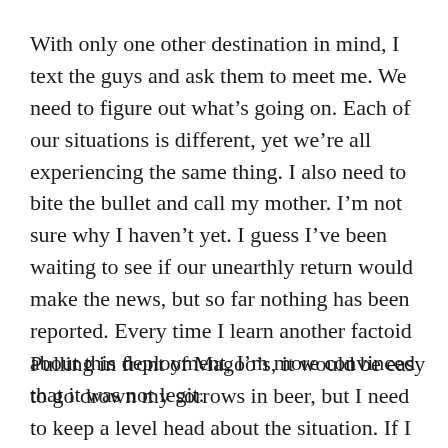With only one other destination in mind, I text the guys and ask them to meet me. We need to figure out what’s going on. Each of our situations is different, yet we’re all experiencing the same thing. I also need to bite the bullet and call my mother. I’m not sure why I haven’t yet. I guess I’ve been waiting to see if our unearthly return would make the news, but so far nothing has been reported. Every time I learn another factoid about this deployment, I’m more convinced that it was not legit.
Pulling in front of Magoo’s, it would be easy to go drown my sorrows in beer, but I need to keep a level head about the situation. If I ask